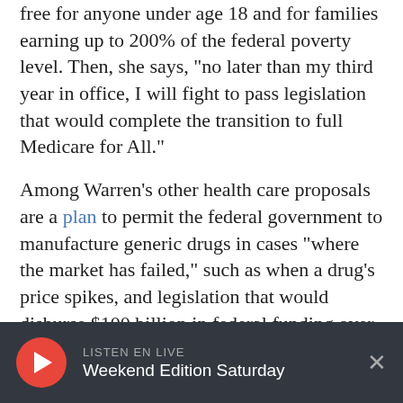free for anyone under age 18 and for families earning up to 200% of the federal poverty level. Then, she says, "no later than my third year in office, I will fight to pass legislation that would complete the transition to full Medicare for All."
Among Warren's other health care proposals are a plan to permit the federal government to manufacture generic drugs in cases "where the market has failed," such as when a drug's price spikes, and legislation that would disburse $100 billion in federal funding over a decade to fight the opioid crisis.
LISTEN EN LIVE / Weekend Edition Saturday